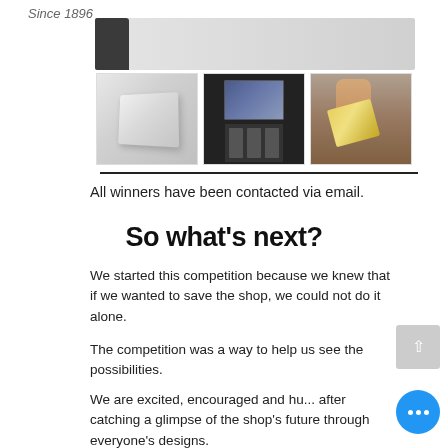Since 1896
[Figure (photo): Three product thumbnail photos in a row: a grey box, a dark electronics panel display, and a hand holding gold foil]
All winners have been contacted via email.
So what's next?
We started this competition because we knew that if we wanted to save the shop, we could not do it alone.
The competition was a way to help us see the possibilities.
We are excited, encouraged and hu... after catching a glimpse of the shop's future through everyone's designs.